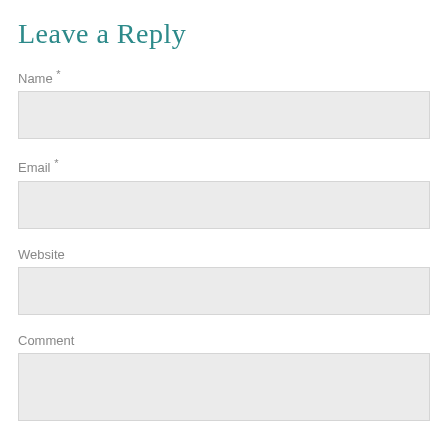Leave a Reply
Name *
Email *
Website
Comment